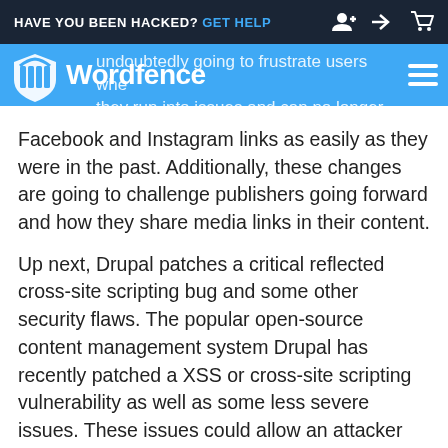HAVE YOU BEEN HACKED? GET HELP
[Figure (logo): Wordfence logo with shield icon on blue navigation bar]
undoubtedly going to frustrate users when they run into issues and can no longer embed Facebook and Instagram links as easily as they were in the past. Additionally, these changes are going to challenge publishers going forward and how they share media links in their content.
Up next, Drupal patches a critical reflected cross-site scripting bug and some other security flaws. The popular open-source content management system Drupal has recently patched a XSS or cross-site scripting vulnerability as well as some less severe issues. These issues could allow an attacker the ability to leverage the way that HTML is rendered for affected forms in order to exploit the cross-site